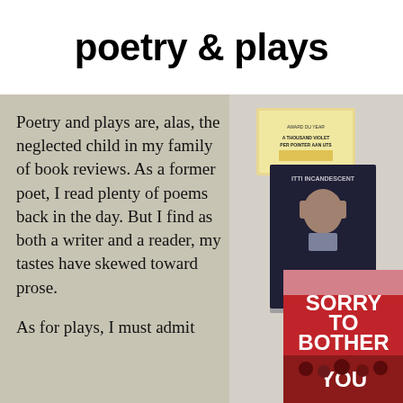poetry & plays
Poetry and plays are, alas, the neglected child in my family of book reviews. As a former poet, I read plenty of poems back in the day. But I find as both a writer and a reader, my tastes have skewed toward prose.
[Figure (photo): Stack of books including a book with 'ITTI INCANDESCENT' on the cover showing a person holding their head, and 'SORRY TO BOTHER YOU' on the front book cover with crowd imagery, plus another framed book at the back.]
As for plays, I must admit